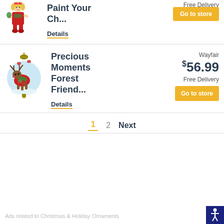[Figure (illustration): Christmas figurine of a small girl in red outfit holding something green, partially cropped at top]
Paint Your Ch...
Free Delivery
Go to store
Details
[Figure (illustration): Round Christmas ornament ball with painted scene of a moose/reindeer in red and green with holiday decorations on blue background, with gold hanger]
Precious Moments Forest Friend...
Wayfair
$56.99
Free Delivery
Go to store
Details
1  2  Next
Ads related to Christmas & Holiday Ornaments